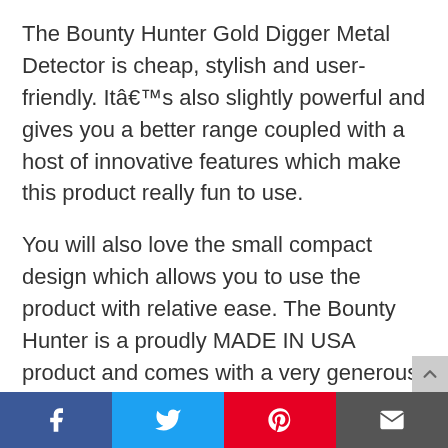The Bounty Hunter Gold Digger Metal Detector is cheap, stylish and user-friendly. Itâ€™s also slightly powerful and gives you a better range coupled with a host of innovative features which make this product really fun to use.
You will also love the small compact design which allows you to use the product with relative ease. The Bounty Hunter is a proudly MADE IN USA product and comes with a very generous warranty for users.
The product certainly offers good value for money